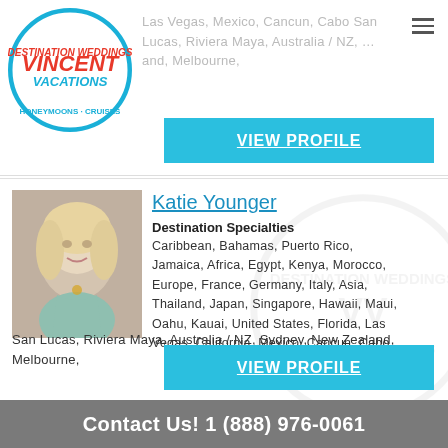[Figure (logo): Vincent Vacations circular logo with destination weddings, honeymoons and cruises text]
Las Vegas, Mexico, Cancun, Cabo San Lucas, Riviera Maya, Australia / NZ, …and, Melbourne,
VIEW PROFILE
Katie Younger
[Figure (photo): Photo of Katie Younger, a blonde woman in a teal top]
Destination Specialties
Caribbean, Bahamas, Puerto Rico, Jamaica, Africa, Egypt, Kenya, Morocco, Europe, France, Germany, Italy, Asia, Thailand, Japan, Singapore, Hawaii, Maui, Oahu, Kauai, United States, Florida, Las Vegas, California, Mexico, Cancun, Cabo San Lucas, Riviera Maya, Australia / NZ, Sydney, New Zealand, Melbourne,
VIEW PROFILE
Contact Us!  1 (888) 976-0061